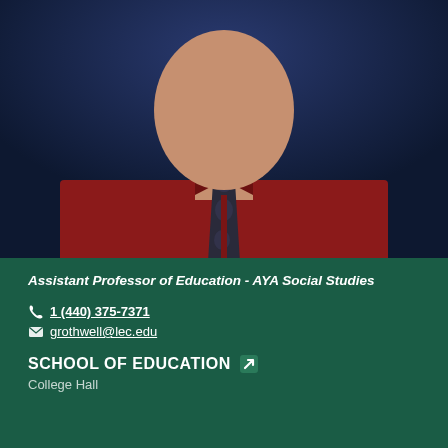[Figure (photo): Professional headshot of a person wearing a red shirt and dark patterned tie, photographed against a dark blue background. Only the torso and lower face/neck area visible.]
Assistant Professor of Education - AYA Social Studies
1 (440) 375-7371
grothwell@lec.edu
SCHOOL OF EDUCATION
College Hall